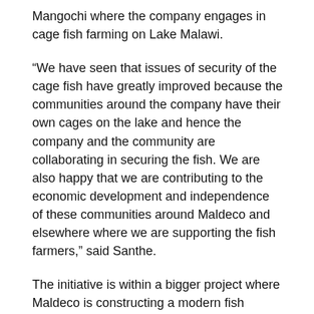Mangochi where the company engages in cage fish farming on Lake Malawi.
“We have seen that issues of security of the cage fish have greatly improved because the communities around the company have their own cages on the lake and hence the company and the community are collaborating in securing the fish. We are also happy that we are contributing to the economic development and independence of these communities around Maldeco and elsewhere where we are supporting the fish farmers,” said Santhe.
The initiative is within a bigger project where Maldeco is constructing a modern fish processing facility with funding from PCL and additional funding from UNDP which Maldeco won as a matching grant.